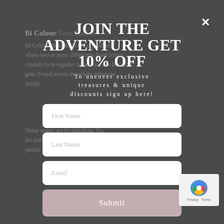[Figure (screenshot): Dark grey background with partially visible article text about Bi Colour gemstones]
JOIN THE ADVENTURE GET 10% OFF
To uncover exclusive treasures & unique discounts sign up here!
First Name
Last Name
Email
Submit
[Figure (logo): reCAPTCHA badge with Privacy - Terms text]